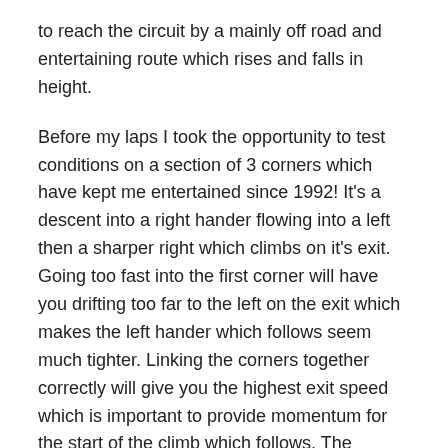to reach the circuit by a mainly off road and entertaining route which rises and falls in height.
Before my laps I took the opportunity to test conditions on a section of 3 corners which have kept me entertained since 1992! It's a descent into a right hander flowing into a left then a sharper right which climbs on it's exit. Going too fast into the first corner will have you drifting too far to the left on the exit which makes the left hander which follows seem much tighter. Linking the corners together correctly will give you the highest exit speed which is important to provide momentum for the start of the climb which follows. The ground is hard packed but has a layer of grit mixed with leaf mould on top which soon has you finding the limit of grip.
I was soon at the start point and clicked my stopwatch. I'd stop at the end of each lap to check my time. On the first lap I obviously felt fresh and it's easy to use up too much of